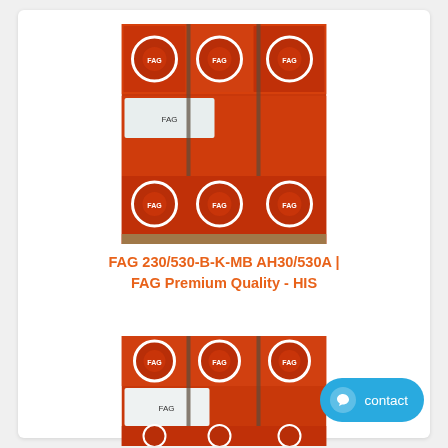[Figure (photo): Stack of red FAG bearing boxes with circular white FAG logos on the ends, stacked on a wooden pallet with metal strapping]
FAG 230/530-B-K-MB AH30/530A | FAG Premium Quality - HIS
[Figure (photo): Second photo showing more stacked red FAG bearing boxes, similar to the first image, partially visible]